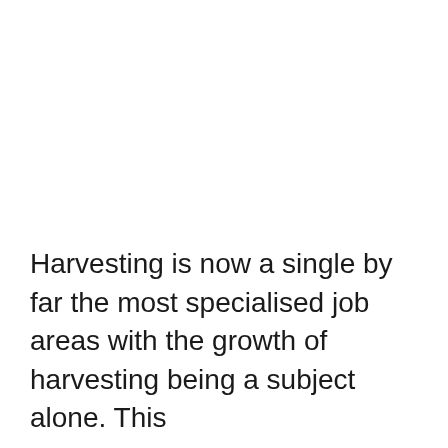Harvesting is now a single by far the most specialised job areas with the growth of harvesting being a subject alone. This